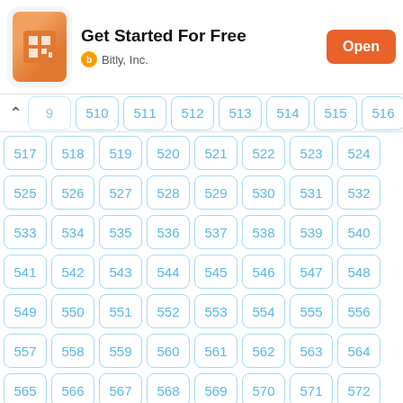[Figure (screenshot): App store advertisement banner for Bitly, Inc. with orange app icon, 'Get Started For Free' title, and an orange 'Open' button]
| 509 | 510 | 511 | 512 | 513 | 514 | 515 | 516 |
| 517 | 518 | 519 | 520 | 521 | 522 | 523 | 524 |
| 525 | 526 | 527 | 528 | 529 | 530 | 531 | 532 |
| 533 | 534 | 535 | 536 | 537 | 538 | 539 | 540 |
| 541 | 542 | 543 | 544 | 545 | 546 | 547 | 548 |
| 549 | 550 | 551 | 552 | 553 | 554 | 555 | 556 |
| 557 | 558 | 559 | 560 | 561 | 562 | 563 | 564 |
| 565 | 566 | 567 | 568 | 569 | 570 | 571 | 572 |
| 573 | 574 | 575 | 576 | 577 | 578 | 579 | 580 |
| 581 | 582 | 583 | 584 | 585 | 586 | 587 | 588 |
| 589 | 590 | 591 | 592 | 593 | 594 | 595 | 596 |